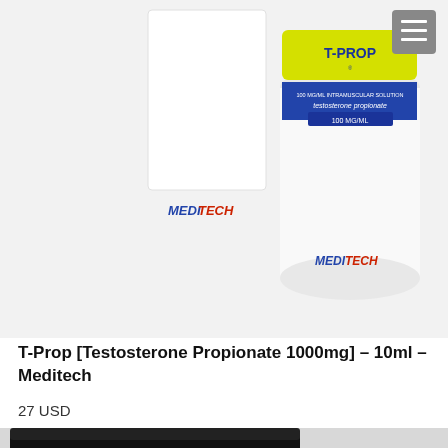[Figure (photo): Product photo showing Meditech T-Prop (Testosterone Propionate 1000mg 10ml) - a white box and a white vial with yellow label displaying 'T-PROP' and 'Meditech' branding, on a white background.]
T-Prop [Testosterone Propionate 1000mg] – 10ml – Meditech
27 USD
[Figure (photo): Product photo showing T-Prop black box packaging with red lettering 'T-Prop' and a black vial cap, partially visible at bottom of page.]